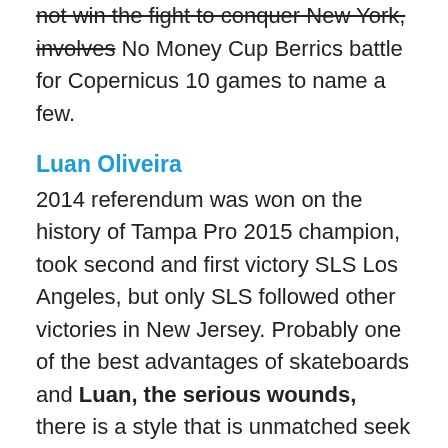not win the fight to conquer New York, involves No Money Cup Berrics battle for Copernicus 10 games to name a few.
Luan Oliveira
2014 referendum was won on the history of Tampa Pro 2015 champion, took second and first victory SLS Los Angeles, but only SLS followed other victories in New Jersey. Probably one of the best advantages of skateboards and Luan, the serious wounds, there is a style that is unmatched seek nine standard complacency club, he often did 17 times SLS career. Nike SB skateboarding, Lu'an have the final 86% when he joined SLS in 2011 and four championships, participated in the 2015, where he finished third.
Kelvin Hoefler
Curabitur Brazilian women after the wedding and Kelvin